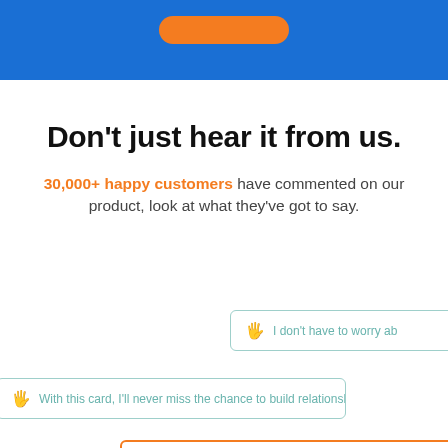[Figure (other): Blue banner header with orange button partially visible at top]
Don't just hear it from us.
30,000+ happy customers have commented on our product, look at what they've got to say.
I don't have to worry ab...
With this card, I'll never miss the chance to build relationships ever a...
Gone are the days of exchanging traditional name...